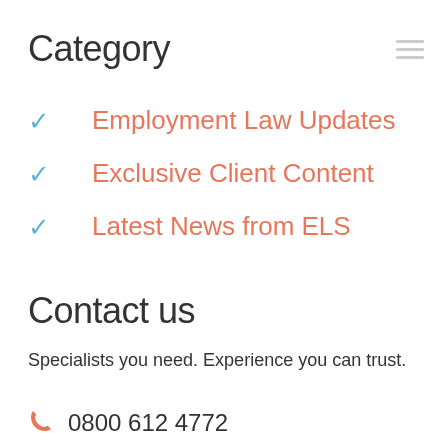Category
Employment Law Updates
Exclusive Client Content
Latest News from ELS
Contact us
Specialists you need. Experience you can trust.
0800 612 4772